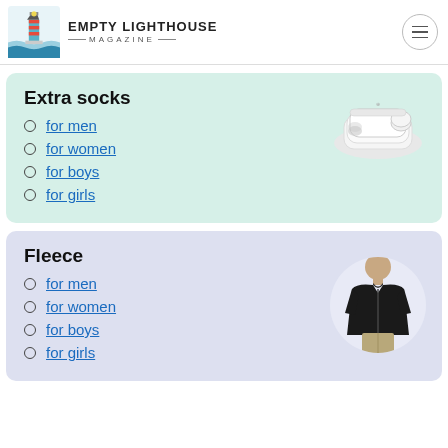EMPTY LIGHTHOUSE MAGAZINE
Extra socks
for men
for women
for boys
for girls
[Figure (photo): Image of white ankle socks bundled together]
Fleece
for men
for women
for boys
for girls
[Figure (photo): Man wearing a black fleece zip-up jacket, shown in circular crop]